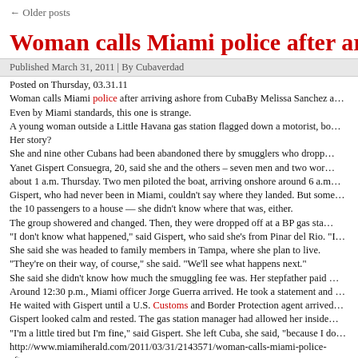← Older posts
Woman calls Miami police after arriving a…
Published March 31, 2011 | By Cubaverdad
Posted on Thursday, 03.31.11
Woman calls Miami police after arriving ashore from CubaBy Melissa Sanchez a…
Even by Miami standards, this one is strange.
A young woman outside a Little Havana gas station flagged down a motorist, bo…
Her story?
She and nine other Cubans had been abandoned there by smugglers who dropp…
Yanet Gispert Consuegra, 20, said she and the others – seven men and two wor…
about 1 a.m. Thursday. Two men piloted the boat, arriving onshore around 6 a.m…
Gispert, who had never been in Miami, couldn't say where they landed. But some…
the 10 passengers to a house — she didn't know where that was, either.
The group showered and changed. Then, they were dropped off at a BP gas sta…
"I don't know what happened," said Gispert, who said she's from Pinar del Rio. "I…
She said she was headed to family members in Tampa, where she plan to live.
"They're on their way, of course," she said. "We'll see what happens next."
She said she didn't know how much the smuggling fee was. Her stepfather paid …
Around 12:30 p.m., Miami officer Jorge Guerra arrived. He took a statement and …
He waited with Gispert until a U.S. Customs and Border Protection agent arrived…
Gispert looked calm and rested. The gas station manager had allowed her inside…
"I'm a little tired but I'm fine," said Gispert. She left Cuba, she said, "because I do…
http://www.miamiherald.com/2011/03/31/2143571/woman-calls-miami-police-afte…
Posted in Cubaverdad | Tagged cell phone, customs, police | Leave a comment
Forum Calls for Decentralisation, to Boos…